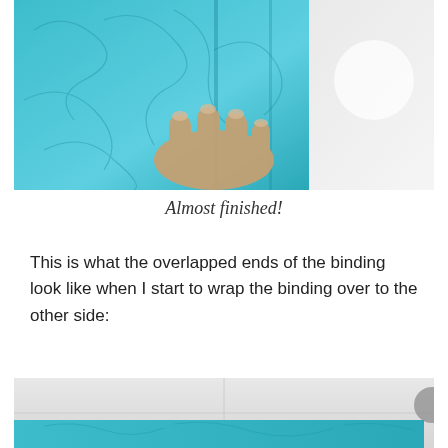[Figure (photo): Hands holding and folding teal/turquoise patterned fabric near a sewing machine on a white surface, showing overlapped binding ends.]
Almost finished!
This is what the overlapped ends of the binding look like when I start to wrap the binding over to the other side:
[Figure (photo): Close-up of teal/turquoise fabric binding wrapped at the edge on a white surface, showing the bound corner from the other side.]